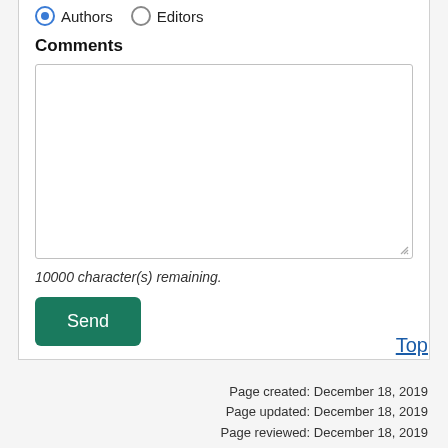Authors   Editors
Comments
[Figure (other): Empty textarea input box with resize handle]
10000 character(s) remaining.
Send
Top
Page created: December 18, 2019
Page updated: December 18, 2019
Page reviewed: December 18, 2019